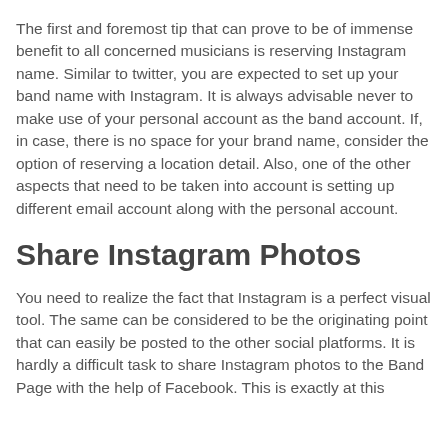The first and foremost tip that can prove to be of immense benefit to all concerned musicians is reserving Instagram name. Similar to twitter, you are expected to set up your band name with Instagram. It is always advisable never to make use of your personal account as the band account. If, in case, there is no space for your brand name, consider the option of reserving a location detail. Also, one of the other aspects that need to be taken into account is setting up different email account along with the personal account.
Share Instagram Photos
You need to realize the fact that Instagram is a perfect visual tool. The same can be considered to be the originating point that can easily be posted to the other social platforms. It is hardly a difficult task to share Instagram photos to the Band Page with the help of Facebook. This is exactly at this